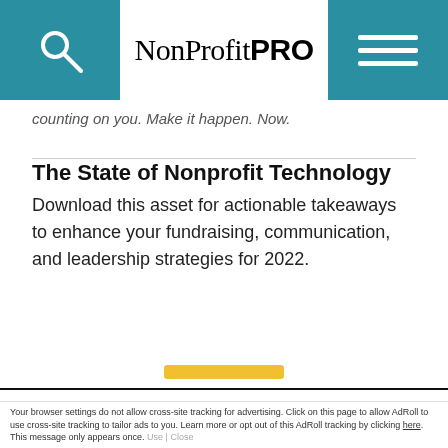NonProfitPRO
counting on you. Make it happen. Now.
The State of Nonprofit Technology
Download this asset for actionable takeaways to enhance your fundraising, communication, and leadership strategies for 2022.
This site uses cookies for tracking purposes. By continuing to browse our website, you agree to the storing of first- and third-party cookies on your device to enhance site navigation, analyze site usage, and assist in our marketing and
Accept and Close ✕
Your browser settings do not allow cross-site tracking for advertising. Click on this page to allow AdRoll to use cross-site tracking to tailor ads to you. Learn more or opt out of this AdRoll tracking by clicking here. This message only appears once.